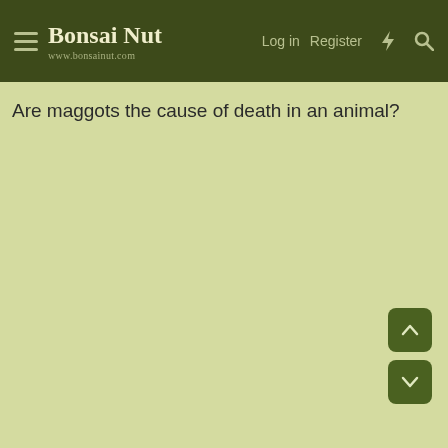Bonsai Nut — www.bonsainut.com — Log in | Register
Are maggots the cause of death in an animal?